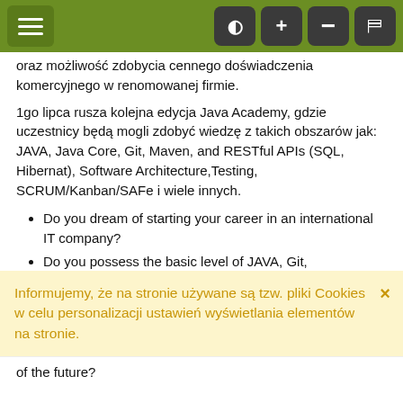[Navigation bar with hamburger menu and accessibility icons]
oraz możliwość zdobycia cennego doświadczenia komercyjnego w renomowanej firmie.
1go lipca rusza kolejna edycja Java Academy, gdzie uczestnicy będą mogli zdobyć wiedzę z takich obszarów jak: JAVA, Java Core, Git, Maven, and RESTful APIs (SQL, Hibernat), Software Architecture,Testing, SCRUM/Kanban/SAFe i wiele innych.
Do you dream of starting your career in an international IT company?
Do you possess the basic level of JAVA, Git,
Informujemy, że na stronie używane są tzw. pliki Cookies w celu personalizacji ustawień wyświetlania elementów na stronie.
of the future?